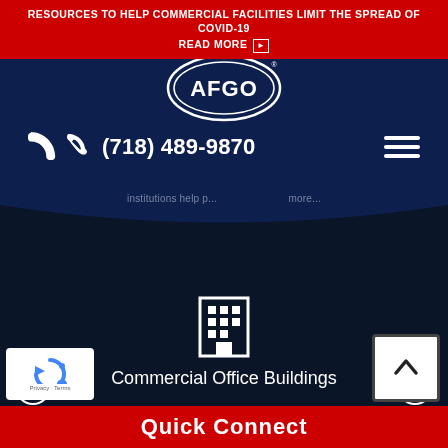RESOURCES TO HELP COMMERCIAL FACILITIES LIMIT THE SPREAD OF COVID-19
READ MORE ▶
[Figure (logo): AFGO company logo — white oval with AFGO text in navy blue on dark navy background]
(718) 489-9870
institutions help p... ...more...
[Figure (illustration): White building/office icon on dark navy hero background]
Commercial Office Buildings
Quick Connect